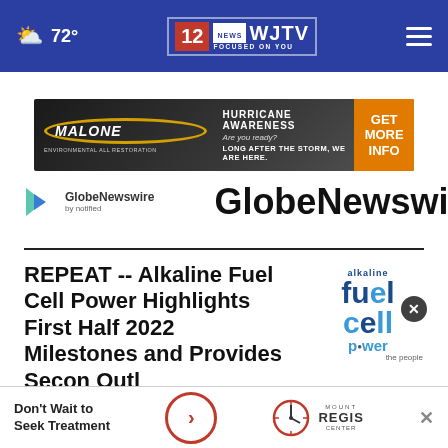72° WJTV 12 News Focused On You
[Figure (illustration): Malone advertisement banner: Hurricane Awareness - Are you ready? Long after the storm, we are here. Get More Info.]
[Figure (logo): GlobeNewswire by notified logo with colorful play-button icon and large bold GlobeNewswire text]
REPEAT -- Alkaline Fuel Cell Power Highlights First Half 2022 Milestones and Provides Second Half Outlook
[Figure (logo): Alkaline Fuel Cell Power company logo in blue tones]
[Figure (illustration): Don't Wait to Seek Treatment advertisement with clock icon and Mount Regis Center logo]